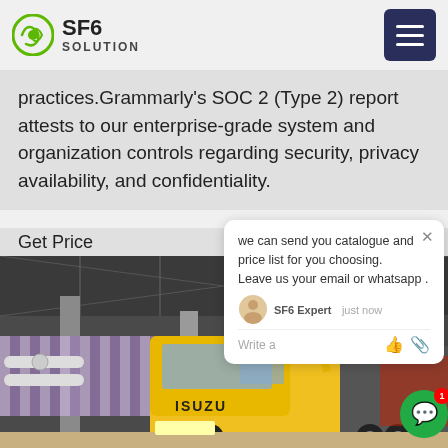SF6 SOLUTION
practices.Grammarly's SOC 2 (Type 2) report attests to our enterprise-grade system and organization controls regarding security, privacy availability, and confidentiality.
Get Price
[Figure (photo): Yellow Isuzu truck with crane arm inside an industrial building with SF6 gas handling equipment visible in background]
we can send you catalogue and price list for you choosing. Leave us your email or whatsapp .